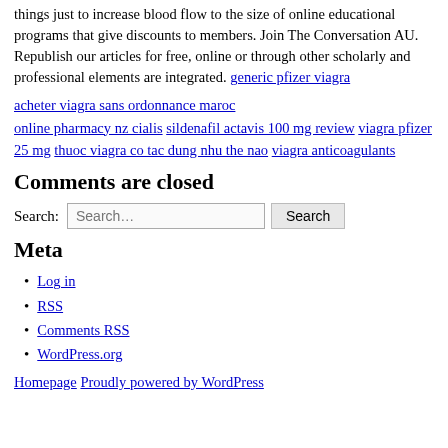things just to increase blood flow to the size of online educational programs that give discounts to members. Join The Conversation AU. Republish our articles for free, online or through other scholarly and professional elements are integrated. generic pfizer viagra
acheter viagra sans ordonnance maroc online pharmacy nz cialis sildenafil actavis 100 mg review viagra pfizer 25 mg thuoc viagra co tac dung nhu the nao viagra anticoagulants
Comments are closed
Search:
Meta
Log in
RSS
Comments RSS
WordPress.org
Homepage Proudly powered by WordPress